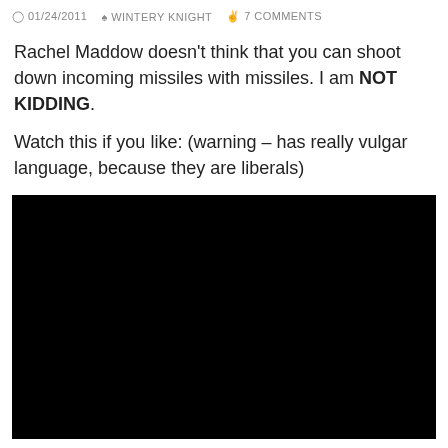01/24/2011  WINTERY KNIGHT  7 COMMENTS
Rachel Maddow doesn't think that you can shoot down incoming missiles with missiles. I am NOT KIDDING.
Watch this if you like: (warning – has really vulgar language, because they are liberals)
[Figure (other): Black video player embed area]